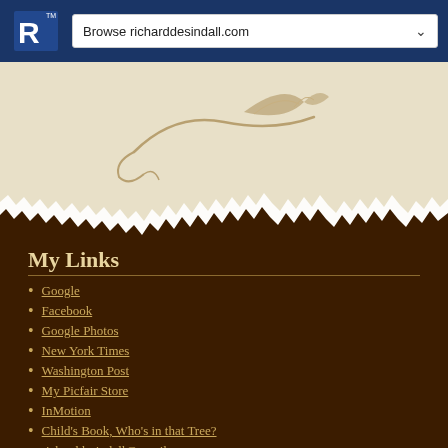Browse richardesindall.com
[Figure (illustration): Decorative beige banner with a stylized swirl and leaf/quill motif in tan/brown on a cream background, with a torn paper edge effect at the bottom transitioning to dark brown.]
My Links
Google
Facebook
Google Photos
New York Times
Washington Post
My Picfair Store
InMotion
Child's Book, Who's in that Tree?
richarddesindall@gmail
Southern Poverty Law Center